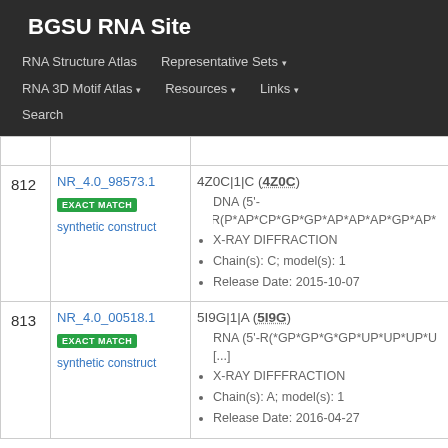BGSU RNA Site
RNA Structure Atlas | Representative Sets ▾ | RNA 3D Motif Atlas ▾ | Resources ▾ | Links ▾ | Search
| # | ID | Info |
| --- | --- | --- |
| 812 | NR_4.0_98573.1
EXACT MATCH
synthetic construct | 4Z0C|1|C (4Z0C)
• DNA (5'-R(P*AP*CP*GP*GP*AP*AP*AP*GP*AP*
• X-RAY DIFFRACTION
• Chain(s): C; model(s): 1
• Release Date: 2015-10-07 |
| 813 | NR_4.0_00518.1
EXACT MATCH
synthetic construct | 5I9G|1|A (5I9G)
• RNA (5'-R(*GP*GP*G*GP*UP*UP*UP*U
[...]
• X-RAY DIFFFRACTION
• Chain(s): A; model(s): 1
• Release Date: 2016-04-27 |